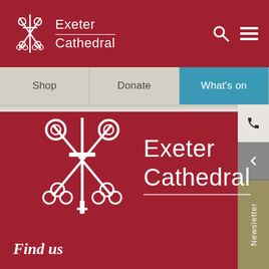[Figure (logo): Exeter Cathedral logo with crossed keys and sword emblem, white on dark red, with text 'Exeter Cathedral' in white light font]
Shop
Donate
What's on
[Figure (logo): Large Exeter Cathedral logo centered on red background with crossed keys/sword emblem and 'Exeter Cathedral' text in white with underline]
Find us